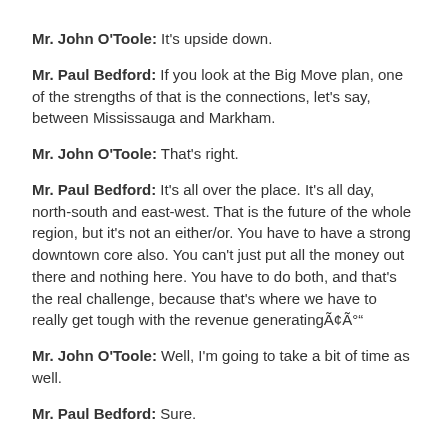Mr. John O'Toole: It's upside down.
Mr. Paul Bedford: If you look at the Big Move plan, one of the strengths of that is the connections, let's say, between Mississauga and Markham.
Mr. John O'Toole: That's right.
Mr. Paul Bedford: It's all over the place. It's all day, north-south and east-west. That is the future of the whole region, but it's not an either/or. You have to have a strong downtown core also. You can't just put all the money out there and nothing here. You have to do both, and that's the real challenge, because that's where we have to really get tough with the revenue generatingÃ¢Ã°”
Mr. John O'Toole: Well, I'm going to take a bit of time as well.
Mr. Paul Bedford: Sure.